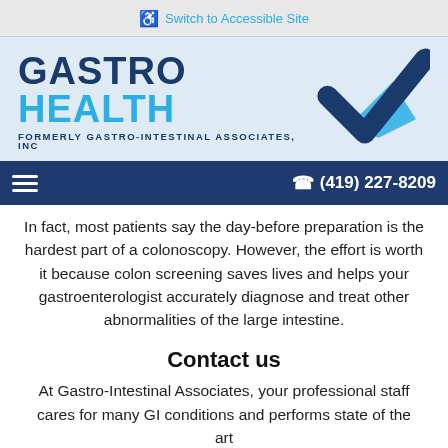Switch to Accessible Site
[Figure (logo): Gastro Health logo (formerly Gastro-Intestinal Associates, Inc) with blue checkmark graphic]
(419) 227-8209
In fact, most patients say the day-before preparation is the hardest part of a colonoscopy. However, the effort is worth it because colon screening saves lives and helps your gastroenterologist accurately diagnose and treat other abnormalities of the large intestine.
Contact us
At Gastro-Intestinal Associates, your professional staff cares for many GI conditions and performs state of the art